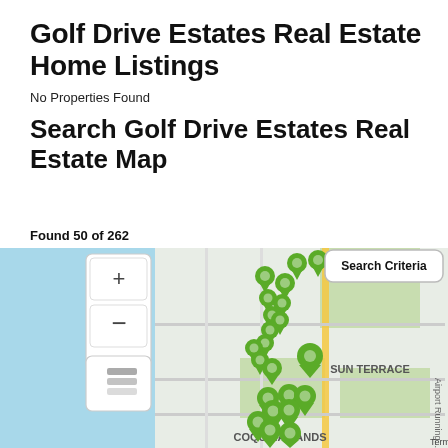Golf Drive Estates Real Estate Home Listings
No Properties Found
Search Golf Drive Estates Real Estate Map
Found 50 of 262
[Figure (map): Interactive real estate map showing Golf Drive Estates area with green map pin markers clustered along the coastline, displaying neighborhoods including Sun Terrace and Coquina Sands. Map controls include zoom in (+), zoom out (-), and layers button. A Search Criteria button appears in the top right corner.]